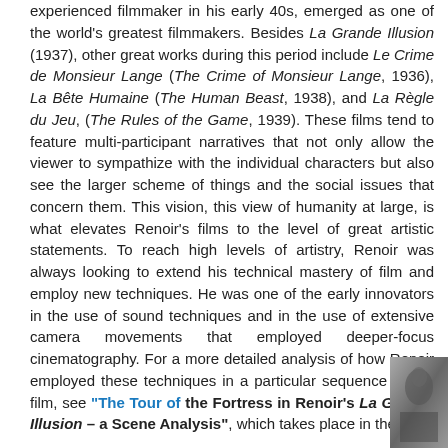experienced filmmaker in his early 40s, emerged as one of the world's greatest filmmakers. Besides La Grande Illusion (1937), other great works during this period include Le Crime de Monsieur Lange (The Crime of Monsieur Lange, 1936), La Bête Humaine (The Human Beast, 1938), and La Règle du Jeu, (The Rules of the Game, 1939). These films tend to feature multi-participant narratives that not only allow the viewer to sympathize with the individual characters but also see the larger scheme of things and the social issues that concern them. This vision, this view of humanity at large, is what elevates Renoir's films to the level of great artistic statements. To reach high levels of artistry, Renoir was always looking to extend his technical mastery of film and employ new techniques. He was one of the early innovators in the use of sound techniques and in the use of extensive camera movements that employed deeper-focus cinematography. For a more detailed analysis of how Renoir employed these techniques in a particular sequence in this film, see "The Tour of the Fortress in Renoir's La Grande Illusion – a Scene Analysis", which takes place in the
[Figure (photo): Black and white film still from La Grande Illusion showing characters in costume]